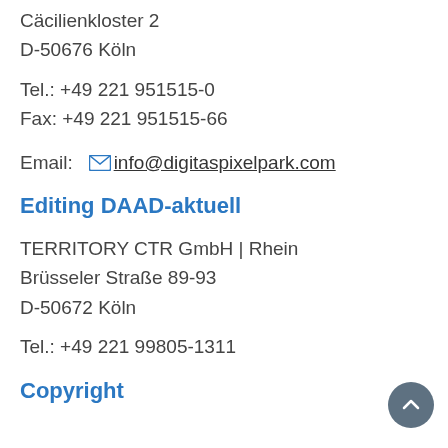Cäcilienkloster 2
D-50676 Köln
Tel.: +49 221 951515-0
Fax: +49 221 951515-66
Email:  info@digitaspixelpark.com
Editing DAAD-aktuell
TERRITORY CTR GmbH | Rhein
Brüsseler Straße 89-93
D-50672 Köln
Tel.: +49 221 99805-1311
Copyright